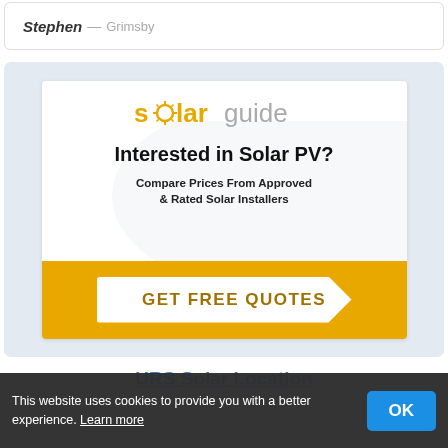Stephen — Grimsby
[Figure (advertisement): SolarGuide advertisement banner. Logo at top reads 'solarguide' with solar orange and grey text. Headline: 'Interested in Solar PV?' Subtext: 'Compare Prices From Approved & Rated Solar Installers'. Gold CTA button shaped like an arrow reads 'GET FREE QUOTES'.]
URS Solar Location
This website uses cookies to provide you with a better experience. Learn more